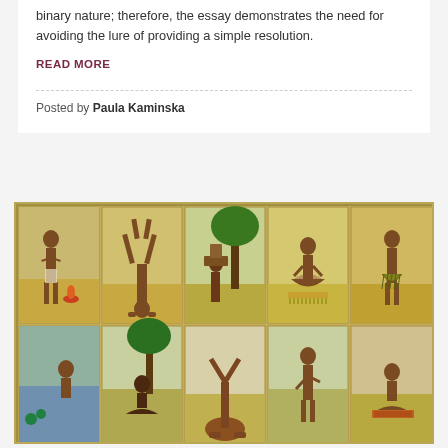binary nature; therefore, the essay demonstrates the need for avoiding the lure of providing a simple resolution.
READ MORE
Posted by Paula Kaminska
[Figure (illustration): A grid of 10 illustrated panels (2 rows × 5 columns) from what appears to be an Indian manuscript painting showing figures in various yogic or ascetic postures. The figures are depicted against light backgrounds with occasional trees and landscape elements. The paintings have a yellowish-cream border and are arranged in a grid format.]